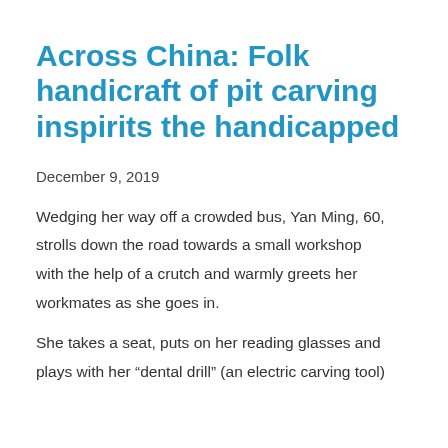Across China: Folk handicraft of pit carving inspirits the handicapped
December 9, 2019
Wedging her way off a crowded bus, Yan Ming, 60, strolls down the road towards a small workshop with the help of a crutch and warmly greets her workmates as she goes in.
She takes a seat, puts on her reading glasses and plays with her “dental drill” (an electric carving tool)